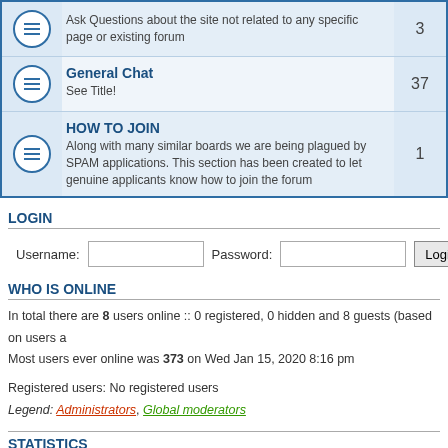|  | Forum | Posts |
| --- | --- | --- |
| [icon] | Ask Questions about the site not related to any specific page or existing forum | 3 |
| [icon] | General Chat
See Title! | 37 |
| [icon] | HOW TO JOIN
Along with many similar boards we are being plagued by SPAM applications. This section has been created to let genuine applicants know how to join the forum | 1 |
LOGIN
Username: [input] Password: [input] [Login button]
WHO IS ONLINE
In total there are 8 users online :: 0 registered, 0 hidden and 8 guests (based on users a...
Most users ever online was 373 on Wed Jan 15, 2020 8:16 pm
Registered users: No registered users
Legend: Administrators, Global moderators
STATISTICS
Total posts 1226 • Total topics 224 • Total members 220 • Our newest member satsujin
Board index   The team • Delete a...
Powered by phpBB® Forum Software © phpBB Gr...